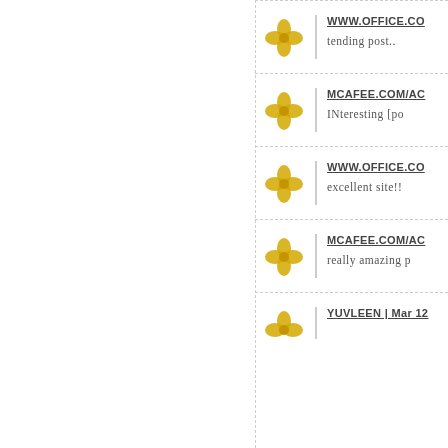WWW.OFFICE.CO... tending post..
MCAFEE.COM/AC... INteresting [po...
WWW.OFFICE.CO... excellent site!!
MCAFEE.COM/AC... really amazing p...
YUVLEEN | Mar 12...